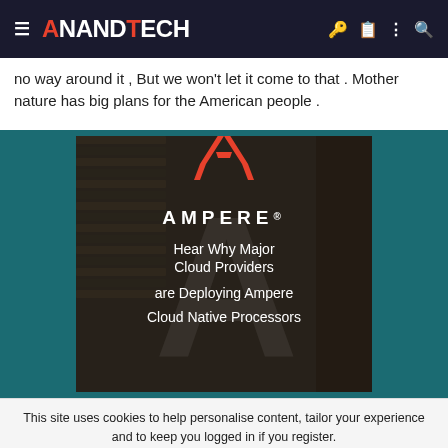≡ ANANDTECH [icons]
no way around it , But we won't let it come to that . Mother nature has big plans for the American people .
[Figure (illustration): Ampere advertisement banner on teal background. Shows the Ampere logo (red geometric A shape) and white text: 'AMPERE.' and 'Hear Why Major Cloud Providers are Deploying Ampere Cloud Native Processors']
This site uses cookies to help personalise content, tailor your experience and to keep you logged in if you register.
By continuing to use this site, you are consenting to our use of cookies.